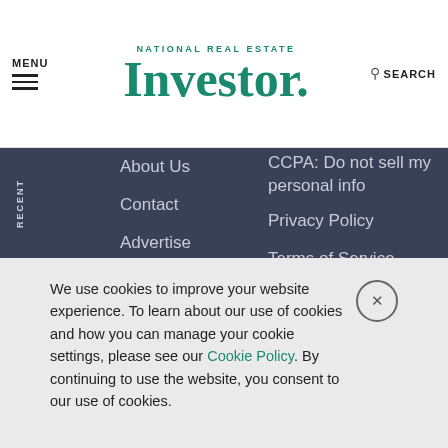MENU | NATIONAL REAL ESTATE Investor. | SEARCH
About Us
Contact
Advertise
Subscribe
Ad Choices
Sitemap
CCPA: Do not sell my personal info
Privacy Policy
Terms of Service
Content Licensing/Reprints
Cookie Policy
Follow us:
RECENT
We use cookies to improve your website experience. To learn about our use of cookies and how you can manage your cookie settings, please see our Cookie Policy. By continuing to use the website, you consent to our use of cookies.